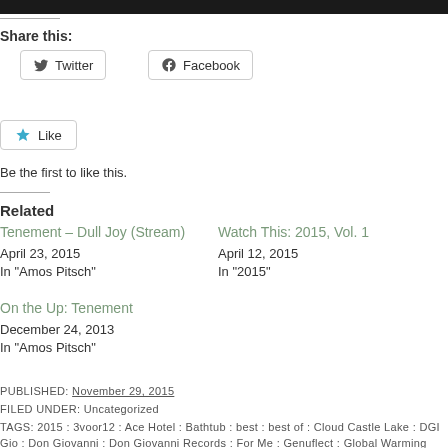Share this:
Twitter
Facebook
Like
Be the first to like this.
Related
Tenement – Dull Joy (Stream)
April 23, 2015
In "Amos Pitsch"
Watch This: 2015, Vol. 1
April 12, 2015
In "2015"
On the Up: Tenement
December 24, 2013
In "Amos Pitsch"
PUBLISHED: November 29, 2015
FILED UNDER: Uncategorized
TAGS: 2015 : 3voor12 : Ace Hotel : Bathtub : best : best of : Cloud Castle Lake : DGI Gio : Don Giovanni : Don Giovanni Records : For Me : Genuflect : Global Warming